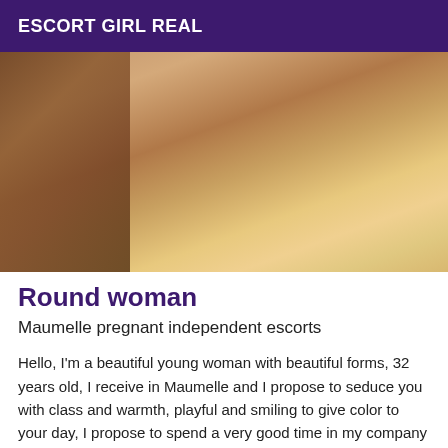ESCORT GIRL REAL
[Figure (photo): Close-up photo of a woman's lower body and legs in a room setting]
Round woman
Maumelle pregnant independent escorts
Hello, I'm a beautiful young woman with beautiful forms, 32 years old, I receive in Maumelle and I propose to seduce you with class and warmth, playful and smiling to give color to your day, I propose to spend a very good time in my company and make you discover relaxation